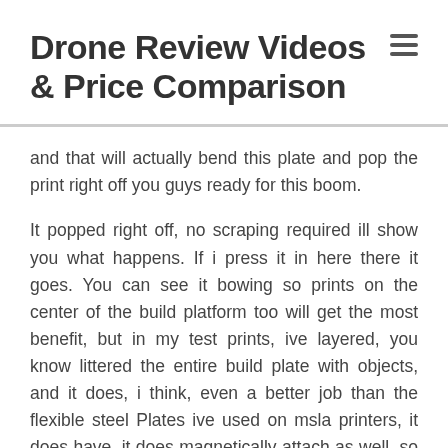Drone Review Videos & Price Comparison
and that will actually bend this plate and pop the print right off you guys ready for this boom.
It popped right off, no scraping required ill show you what happens. If i press it in here there it goes. You can see it bowing so prints on the center of the build platform too will get the most benefit, but in my test prints, ive layered, you know littered the entire build plate with objects, and it does, i think, even a better job than the flexible steel Plates ive used on msla printers, it does have, it does magnetically attach as well, so it snaps back right into place, and with this i was able to go from one print to the next finish, a print and literally start another